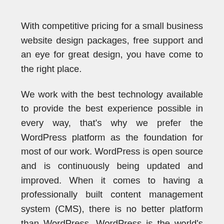With competitive pricing for a small business website design packages, free support and an eye for great design, you have come to the right place.
We work with the best technology available to provide the best experience possible in every way, that's why we prefer the WordPress platform as the foundation for most of our work. WordPress is open source and is continuously being updated and improved. When it comes to having a professionally built content management system (CMS), there is no better platform than WordPress. WordPress is the world's most popular cms platform with over 40% of all websites, from hobby blogs to the biggest news sites online.
With a powerful CMS platform like WordPress, you can log in to your website dashboard and use a simplified